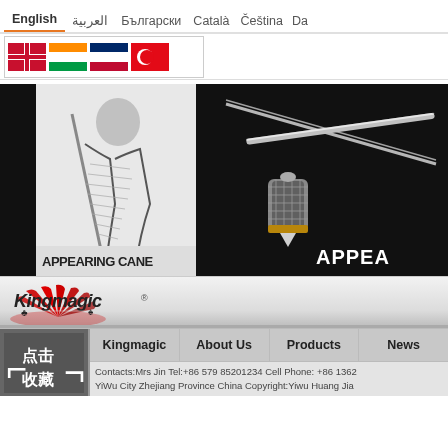English | العربية | Български | Català | Čeština | Da
[Figure (screenshot): Small banner images showing flags/icons in a bordered box]
[Figure (photo): Left banner: Black and white sketch of magician with cane, text APPEARING CANE]
[Figure (photo): Right banner: Dark photo of metallic appearing cane/wand with jeweled tip, text APPEA]
[Figure (logo): Kingmagic logo with red fan/circle design and suit symbols]
Kingmagic | About Us | Products | News
Contacts:Mrs Jin Tel:+86 579 85201234 Cell Phone: +86 1362 YiWu City Zhejiang Province China Copyright:Yiwu Huang Jia